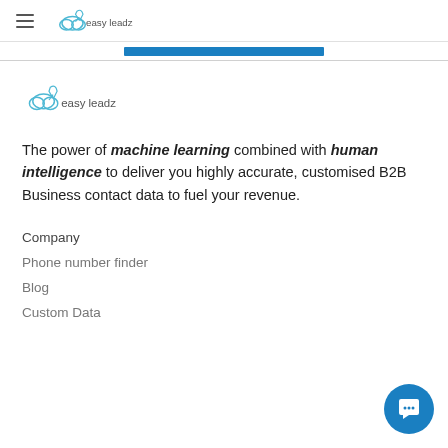[Figure (logo): easy leadz logo in navbar with hamburger menu icon]
[Figure (other): Blue progress/tab bar indicator]
[Figure (logo): easy leadz logo - larger version in main content area]
The power of machine learning combined with human intelligence to deliver you highly accurate, customised B2B Business contact data to fuel your revenue.
Company
Phone number finder
Blog
Custom Data